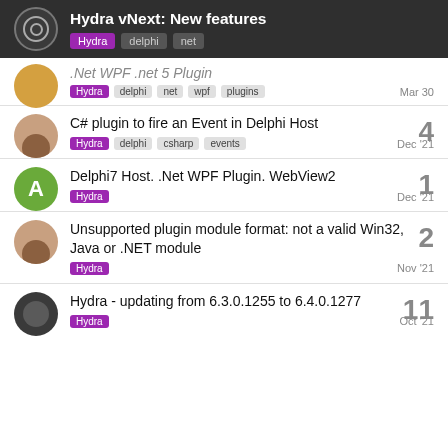Hydra vNext: New features — Hydra delphi net
.Net WPF .net 5 Plugin — Hydra delphi net wpf plugins — Mar 30
C# plugin to fire an Event in Delphi Host — Hydra delphi csharp events — 4 replies — Dec '21
Delphi7 Host. .Net WPF Plugin. WebView2 — Hydra — 1 reply — Dec '21
Unsupported plugin module format: not a valid Win32, Java or .NET module — Hydra — 2 replies — Nov '21
Hydra - updating from 6.3.0.1255 to 6.4.0.1277 — Hydra — 11 replies — Oct '21